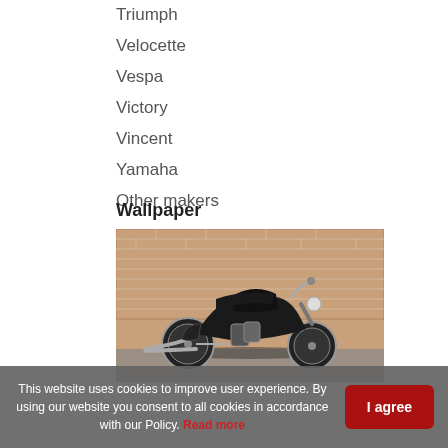Triumph
Velocette
Vespa
Victory
Vincent
Yamaha
Other makers
Wallpaper
[Figure (photo): A black Harley-Davidson cruiser motorcycle parked in front of a red brick wall]
This website uses cookies to improve user experience. By using our website you consent to all cookies in accordance with our Policy. Read more